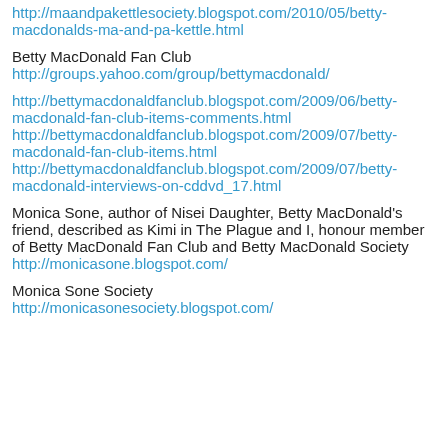http://maandpakettlesociety.blogspot.com/2010/05/betty-macdonalds-ma-and-pa-kettle.html
Betty MacDonald Fan Club
http://groups.yahoo.com/group/bettymacdonald/
http://bettymacdonaldfanclub.blogspot.com/2009/06/betty-macdonald-fan-club-items-comments.html
http://bettymacdonaldfanclub.blogspot.com/2009/07/betty-macdonald-fan-club-items.html
http://bettymacdonaldfanclub.blogspot.com/2009/07/betty-macdonald-interviews-on-cddvd_17.html
Monica Sone, author of Nisei Daughter, Betty MacDonald's friend, described as Kimi in The Plague and I, honour member of Betty MacDonald Fan Club and Betty MacDonald Society
http://monicasone.blogspot.com/
Monica Sone Society
http://monicasonesociety.blogspot.com/